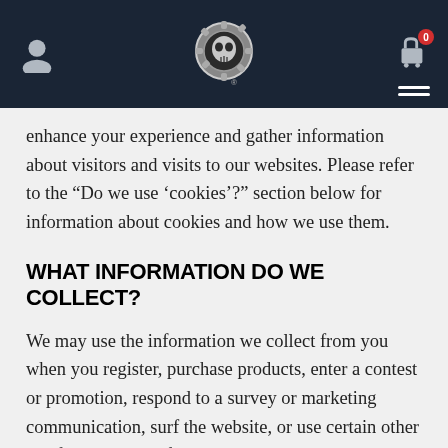[Figure (screenshot): Website header navigation bar with dark navy background, user profile icon on left, skull gear logo in center with registered trademark symbol, shopping cart icon with red badge showing 0 on right, and hamburger menu icon at bottom right]
enhance your experience and gather information about visitors and visits to our websites. Please refer to the “Do we use ‘cookies’?” section below for information about cookies and how we use them.
WHAT INFORMATION DO WE COLLECT?
We may use the information we collect from you when you register, purchase products, enter a contest or promotion, respond to a survey or marketing communication, surf the website, or use certain other site features in the following ways: